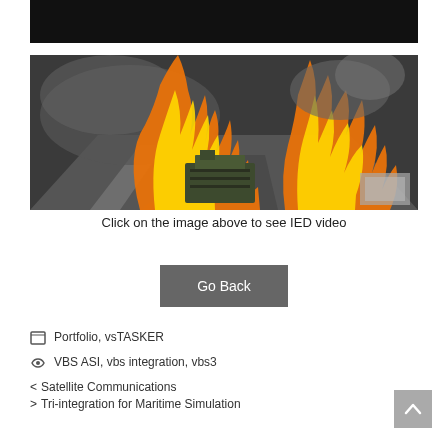[Figure (photo): Top black bar cropped image, partial view]
[Figure (photo): Military simulation screenshot showing an IED explosion on a road with large orange and yellow flames surrounding a military vehicle]
Click on the image above to see IED video
Go Back
Portfolio, vsTASKER
VBS ASI, vbs integration, vbs3
< Satellite Communications
Tri-integration for Maritime Simulation